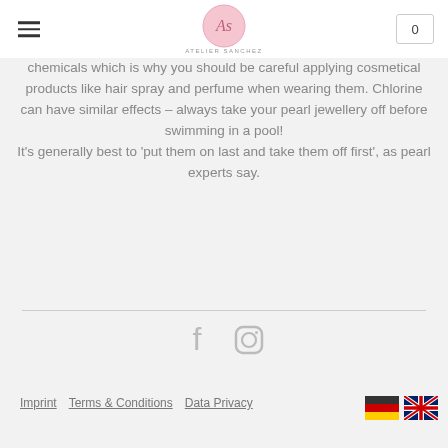ATELIER SANCHEZ
chemicals which is why you should be careful applying cosmetical products like hair spray and perfume when wearing them. Chlorine can have similar effects – always take your pearl jewellery off before swimming in a pool! It's generally best to 'put them on last and take them off first', as pearl experts say.
[Figure (other): Facebook and Instagram social media icons in light gray]
Imprint   Terms & Conditions   Data Privacy